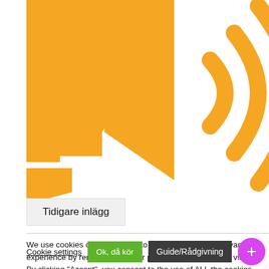[Figure (illustration): Orange speaker/sound icon with sound waves, partially cropped at top of page]
Tidigare inlägg
We use cookies on our website to give you the most relevant experience by remembering your preferences and repeat visits. By clicking "Accept", you consent to the use of ALL the cookies.
Cookie settings
Ok, då kör
Guide/Rådgivning